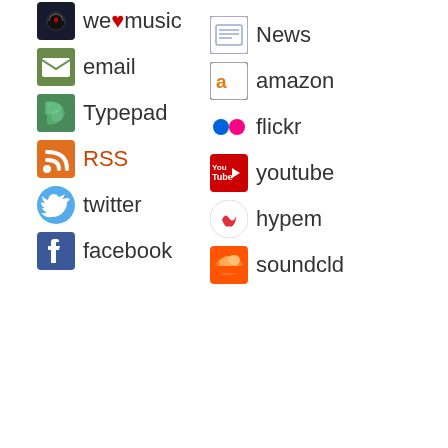we♥music
email
Typepad
RSS
twitter
facebook
News
amazon
flickr
youtube
hypem
soundcld